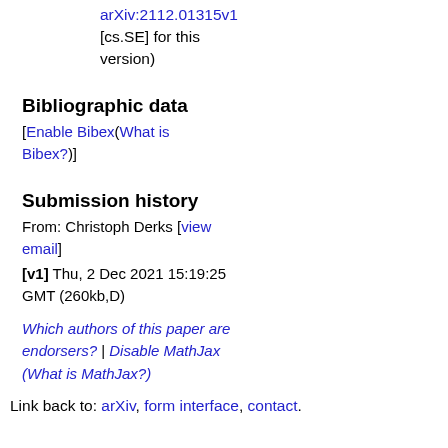arXiv:2112.01315v1 [cs.SE] for this version)
Bibliographic data
[Enable Bibex(What is Bibex?)]
Submission history
From: Christoph Derks [view email]
[v1] Thu, 2 Dec 2021 15:19:25 GMT (260kb,D)
Which authors of this paper are endorsers? | Disable MathJax (What is MathJax?)
Link back to: arXiv, form interface, contact.